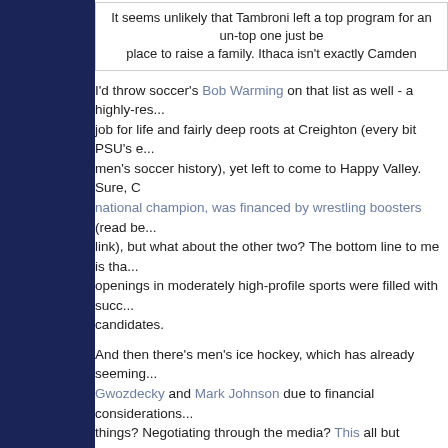It seems unlikely that Tambroni left a top program for an un-top one just be... place to raise a family. Ithaca isn't exactly Camden...
I'd throw soccer's Bob Warming on that list as well - a highly-res... job for life and fairly deep roots at Creighton (every bit PSU's e... men's soccer history), yet left to come to Happy Valley. Sure, C... national champion, was financed by wrestling boosters (read be... link), but what about the other two? The bottom line to me is tha... openings in moderately high-profile sports were filled with succ... candidates.
And then there's men's ice hockey, which has already seeming... Gwozdecky and Mark Johnson due to financial considerations... things? Negotiating through the media? This all but guarantees...
Penn State students will likely face dramatically higher tu... Corbett's proposed budget has appropriated $165 million... less than half of the more than $360 million requested.
In a press release, Penn State administrators called the... "most severe" in Penn State's 157-year history, stating it... "redefinition of Penn State's role as Pennsylvania's land-...
The amount, suggested by Corbett for the 2011-12 fisca... significantly lower than the amount appropriated to the u...